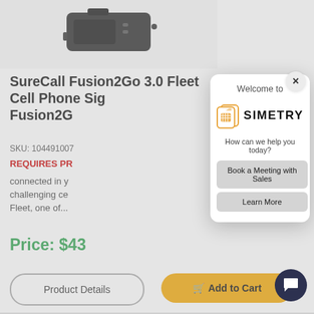[Figure (photo): Product photo of SureCall Fusion2Go 3.0 Fleet Cell Phone Signal Booster device, dark colored hardware component, partially visible at top of page]
SureCall Fusion2Go 3.0 Fleet Cell Phone Sig Fusion2G
SKU: 104491007
REQUIRES PR
connected in y challenging ce Fleet, one of...
Price: $43
Product Details
Add to Cart
[Figure (screenshot): Popup modal overlay showing 'Welcome to SIMETRY' with SIM card logo, buttons: Book a Meeting with Sales, Learn More]
Welcome to
[Figure (logo): SIMETRY logo: orange SIM card icon and bold SIMETRY wordmark]
How can we help you today?
Book a Meeting with Sales
Learn More